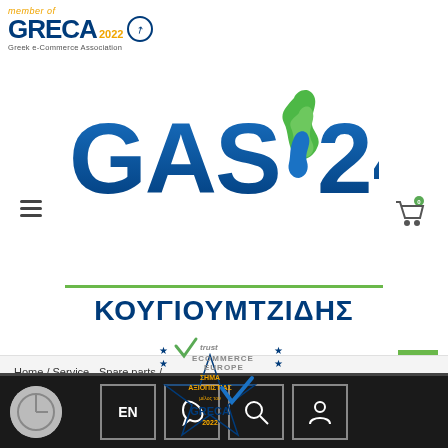[Figure (logo): GRECA 2022 member logo - Greek e-Commerce Association]
[Figure (logo): GAS24 ΚΟΥΓΙΟΥΜΤΖΙΔΗΣ company logo with green flame icon]
Home / Service - Spare parts / Thermocouples Safety cut-off / Χωρίς σπείρωμα
[Figure (logo): ΣΗΜΑ ΑΞΙΟΠΙΣΤΙΑΣ - GRECA 2022 trust seal]
[Figure (logo): Trust ECOMMERCE EUROPE badge]
EN | phone | search | account icons